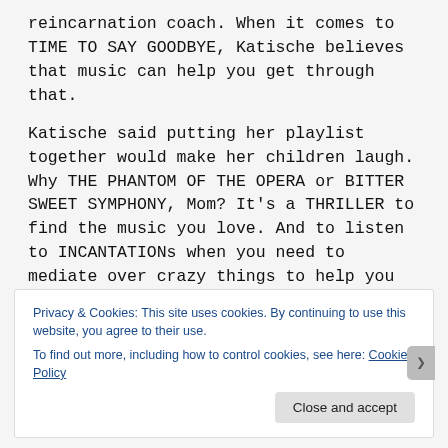reincarnation coach. When it comes to TIME TO SAY GOODBYE, Katische believes that music can help you get through that.
Katische said putting her playlist together would make her children laugh. Why THE PHANTOM OF THE OPERA or BITTER SWEET SYMPHONY, Mom? It's a THRILLER to find the music you love. And to listen to INCАNTATIONs when you need to mediate over crazy things to help you from ROLLING IN THE DEEP depth of struggles.
She is in the HOUSE OF THE RISING SUN, waking up at 4:30 a.m. for sure! She says loves songs are great after
Privacy & Cookies: This site uses cookies. By continuing to use this website, you agree to their use.
To find out more, including how to control cookies, see here: Cookie Policy